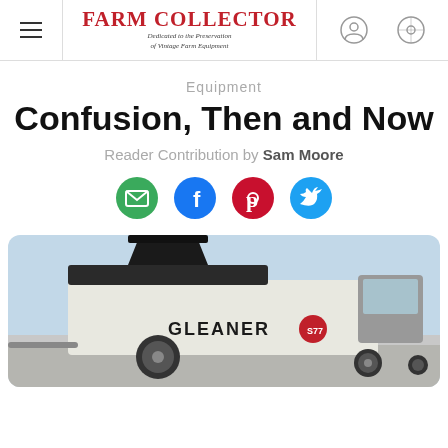Farm Collector — Dedicated to the Preservation of Vintage Farm Equipment
Equipment
Confusion, Then and Now
Reader Contribution by Sam Moore
[Figure (infographic): Social sharing icons: email (green), Facebook (blue), Pinterest (red), Twitter (blue)]
[Figure (photo): A Gleaner S77 combine harvester photographed from the side, showing the grain tank and cab, with a pale blue sky behind it.]